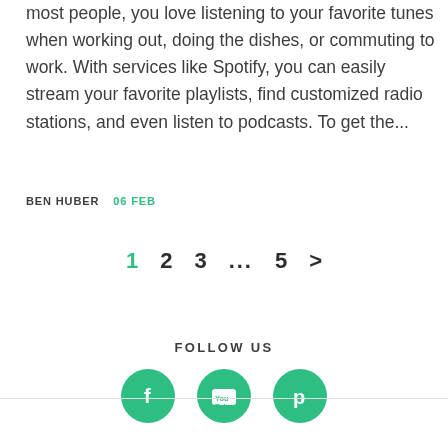most people, you love listening to your favorite tunes when working out, doing the dishes, or commuting to work. With services like Spotify, you can easily stream your favorite playlists, find customized radio stations, and even listen to podcasts. To get the...
BEN HUBER  06 FEB
1  2  3  ...  5  >
FOLLOW US
[Figure (infographic): Three green circular social media icons: Facebook (f), YouTube, and Pinterest (p)]